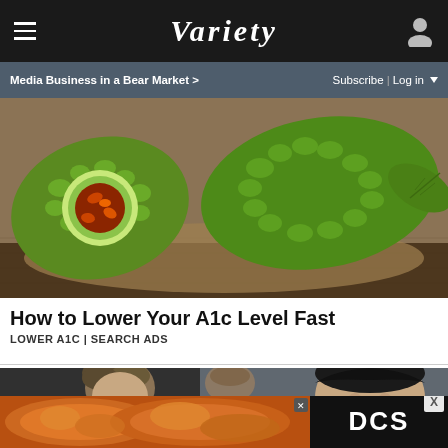VARIETY — Media Business in a Bear Market > | Subscribe | Log in
[Figure (photo): Advertisement photo showing bitter melon / bitter gourd vegetables on a burlap surface, one cut open showing red interior seeds]
How to Lower Your A1c Level Fast
LOWER A1C | SEARCH ADS
[Figure (photo): Photo of people, close-up of individuals, appears to be a movie or TV still — one person on the right has dark slicked-back hair]
[Figure (photo): Bottom advertisement banner: left side shows roasted chicken/food image, right side shows DCS logo in white on black background. Has an X close button.]